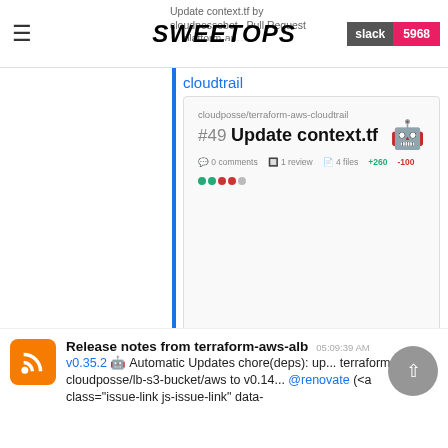SweetOps | slack 5968 | Update context.tf by cloudpossebot · Pull Request...terraform-aws-cloudtrail
cloudtrail
[Figure (screenshot): GitHub PR card: cloudposse/terraform-aws-cloudtrail #49 Update context.tf, 0 comments, 1 review, 4 files, +260 -100, cloudpossebot · August 21, 2021 · 1 commit]
what This is an auto-generated PR that updates the context.tf file to the latest version from cloudposse/terraform-null-label why To support all the features of the context interface.
Release notes from terraform-aws-alb  05:09:39 AM
v0.35.2 🤖 Automatic Updates chore(deps): up... terraform cloudposse/lb-s3-bucket/aws to v0.14... @renovate (<a class="issue-link js-issue-link" data-...